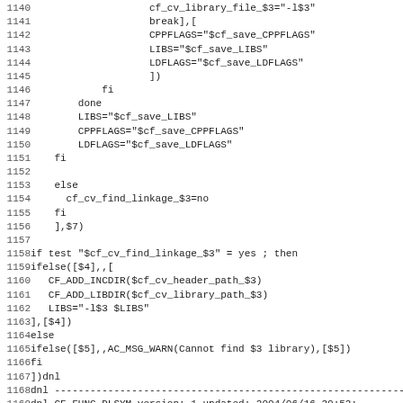Source code listing, lines 1140-1171, shell/autoconf script with library linkage detection logic